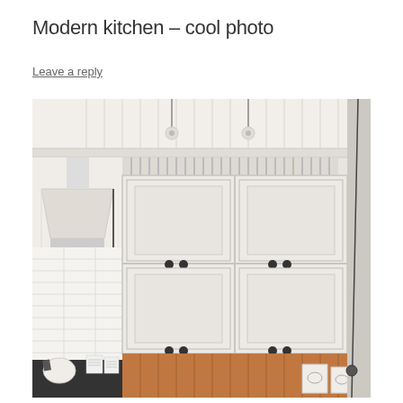Modern kitchen – cool photo
Leave a reply
[Figure (photo): Modern kitchen interior showing white upper cabinets with black knobs, white subway tile backsplash, a range hood, pendant lights hanging from a beadboard ceiling, a stove with kettles and canisters, and warm wood-paneled lower shelving area.]